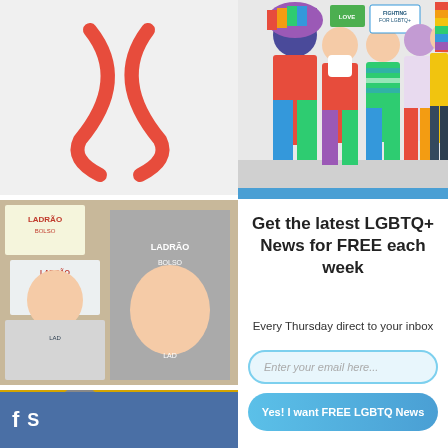[Figure (photo): Top banner: group of colorful LGBTQ+ people holding pride flags and signs in a row against a white background]
[Figure (photo): Thumbnail: red ribbon on white background (top left)]
[Figure (photo): Thumbnail: protest posters with text LADRAO and BOLSO]
[Figure (photo): Thumbnail: man in suit wearing black mask in front of yellow background]
[Figure (photo): Thumbnail: two people posing with US flag]
Get the latest LGBTQ+ News for FREE each week
Every Thursday direct to your inbox
Enter your email here...
Yes! I want FREE LGBTQ News
S